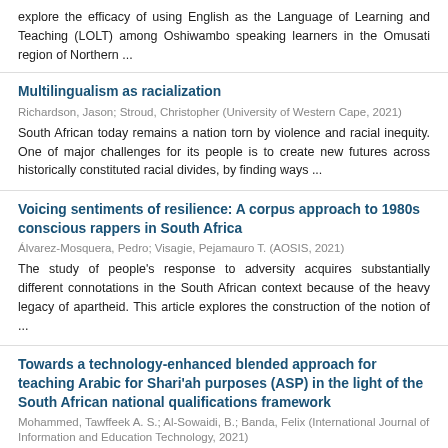explore the efficacy of using English as the Language of Learning and Teaching (LOLT) among Oshiwambo speaking learners in the Omusati region of Northern ...
Multilingualism as racialization
Richardson, Jason; Stroud, Christopher (University of Western Cape, 2021)
South African today remains a nation torn by violence and racial inequity. One of major challenges for its people is to create new futures across historically constituted racial divides, by finding ways ...
Voicing sentiments of resilience: A corpus approach to 1980s conscious rappers in South Africa
Álvarez-Mosquera, Pedro; Visagie, Pejamauro T. (AOSIS, 2021)
The study of people's response to adversity acquires substantially different connotations in the South African context because of the heavy legacy of apartheid. This article explores the construction of the notion of ...
Towards a technology-enhanced blended approach for teaching Arabic for Shari'ah purposes (ASP) in the light of the South African national qualifications framework
Mohammed, Tawffeek A. S.; Al-Sowaidi, B.; Banda, Felix (International Journal of Information and Education Technology, 2021)